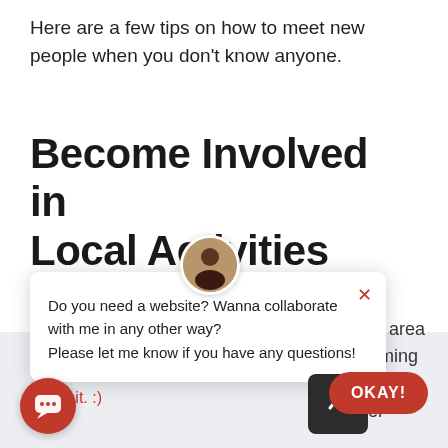Here are a few tips on how to meet new people when you don't know anyone.
Become Involved in Local Activities
[Figure (screenshot): Chat popup widget with avatar, close button (×), and message: 'Do you need a website? Wanna collaborate with me in any other way? Please let me know if you have any questions!']
...ple in an area ...by becoming ...munity. Whether
experience. If you continue to use ...ite, we'll assume that you're ...y with it. :)
[Figure (screenshot): Red circular chat bubble icon button, bottom left]
[Figure (screenshot): Red OKAY! rounded button, bottom right]
[Figure (screenshot): Dark back-to-top arrow button, bottom right]